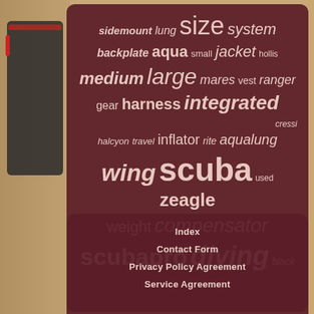[Figure (photo): Background beige/tan floor tiles visible on left and right sides of page, with a scuba BCD/dive equipment partially visible on the left side]
sidemount lung size system backplate aqua small jacket hollis medium large mares vest ranger gear harness integrated cressi halcyon travel inflator rite aqualung wing scuba used zeagle weight compensator scubapro diving black
Index
Contact Form
Privacy Policy Agreement
Service Agreement